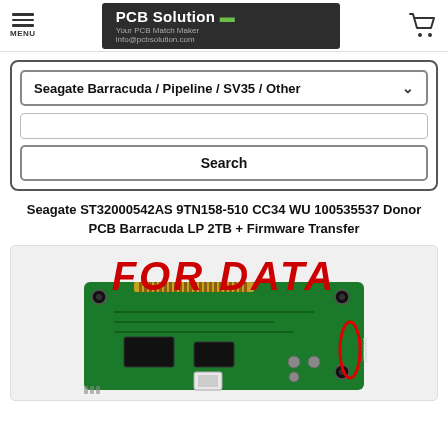PCB Solution — Your PCB Match Maker — info@pcbsolution.com
[Figure (screenshot): Navigation header with menu hamburger icon on left, PCB Solution logo banner in center, and shopping cart icon on right]
[Figure (screenshot): Search interface with dropdown selector showing 'Seagate Barracuda / Pipeline / SV35 / Other', a text input field, and a Search button]
Seagate ST32000542AS 9TN158-510 CC34 WU 100535537 Donor PCB Barracuda LP 2TB + Firmware Transfer
[Figure (photo): Product image showing a green Seagate hard drive PCB board with 'FOR DATA' text in red italic bold letters overlaid at the top. A red oval highlights a component on the right side of the board.]